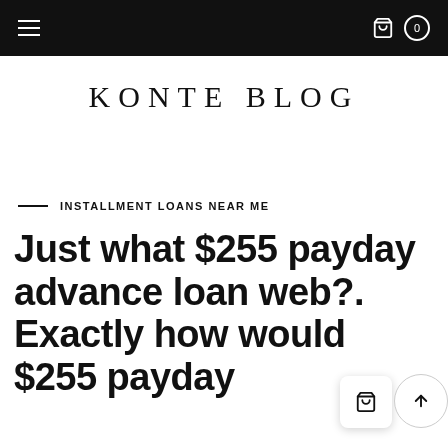KONTE BLOG — navigation bar with hamburger menu and cart icon
KONTE BLOG
INSTALLMENT LOANS NEAR ME
Just what $255 payday advance loan web?. Exactly how would $255 payday